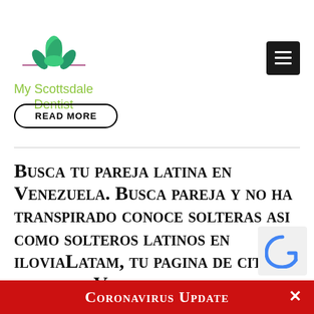[Figure (logo): My Scottsdale Dentist logo with green lotus flower and green text]
[Figure (screenshot): Hamburger menu button (three horizontal lines on dark background)]
READ MORE
Busca tu pareja latina en Venezuela. Busca pareja y no ha transpirado conoce solteras asi como solteros latinos en iloviaLatam, tu pagina de citas serias en Venezuela.
Coronavirus Update